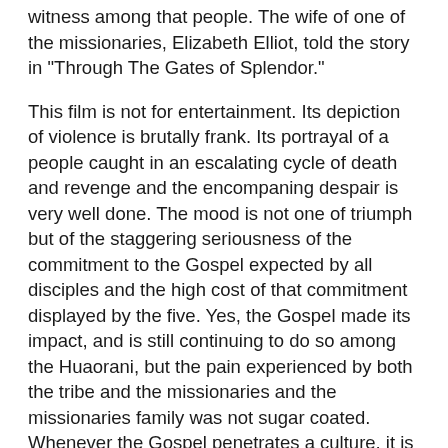witness among that people.  The wife of one of the missionaries, Elizabeth Elliot, told the story in "Through The Gates of Splendor."
This film is not for entertainment.  Its depiction of violence is brutally frank.  Its portrayal of a people caught in an escalating cycle of death and revenge and the encompaning despair is very well done.  The mood is not one of triumph but of the staggering seriousness of the commitment to the Gospel expected by all disciples and the high cost of that commitment displayed by the five.  Yes, the Gospel made its impact, and is still continuing to do so among the Huaorani, but the pain experienced by both the tribe and the missionaries and the missionaries family was not sugar coated.  Whenever the Gospel penetrates a culture, it is not introduced without a painful clash between those who are saved and the culture that claims them as its own.  Recently I heard a Christian worker who debates Muslims implore Christians not to hesitate to reach out to Muslims because of the persecution and pain that those who convert from Islam face.  Those who have suffered so consider the pain worth the price.  The last line of the movie sums up this attitude well.  The narrator, an actor playing